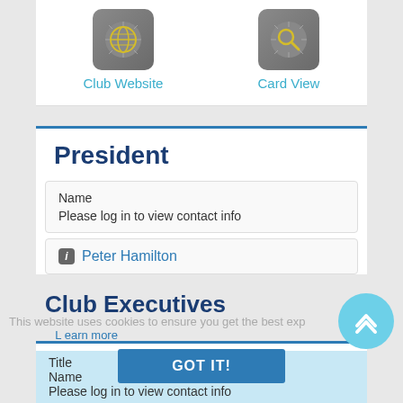[Figure (screenshot): Icon button for Club Website with a globe icon on a gray rounded square]
Club Website
[Figure (screenshot): Icon button for Card View with a magnifying glass icon on a gray rounded square]
Card View
President
Name
Please log in to view contact info
Peter Hamilton
This website uses cookies to ensure you get the best experience on our website. Learn more
Club Executives
Title
Name
Please log in to view contact info
GOT IT!